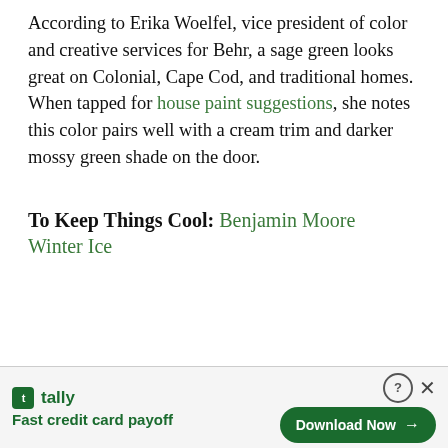According to Erika Woelfel, vice president of color and creative services for Behr, a sage green looks great on Colonial, Cape Cod, and traditional homes. When tapped for house paint suggestions, she notes this color pairs well with a cream trim and darker mossy green shade on the door.
To Keep Things Cool: Benjamin Moore Winter Ice
[Figure (other): Advertisement banner for Tally app — 'Fast credit card payoff' with a green Download Now button]